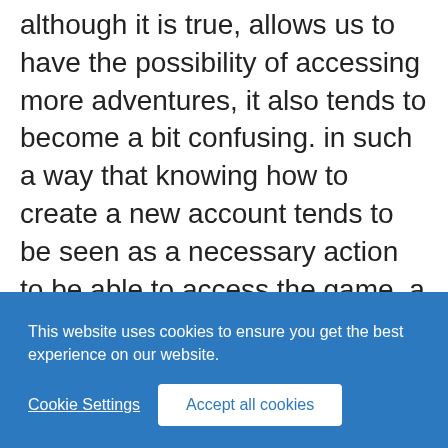although it is true, allows us to have the possibility of accessing more adventures, it also tends to become a bit confusing. in such a way that knowing how to create a new account tends to be seen as a necessary action to be able to access the game, a novel feature that takes no more than 30 seconds, but in a way it may not be so favorable, since previously there was no need to do so.
This website uses cookies to ensure you get the best experience on our website.
Cookie Settings   Accept all cookies